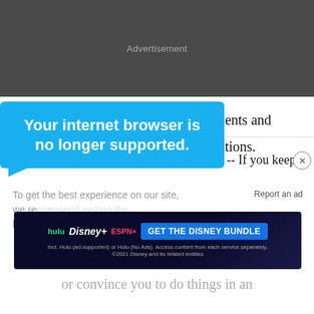[Figure (other): Dark grey advertisement placeholder bar at top of page with 'Advertisement' label]
UExpress
making personal improvements and avoiding emotional situations.
Your internet browser is no longer supported.
-- If you keep
To get the best experience on our site, we re... latest...
Report an ad
[Figure (other): Disney Bundle advertisement banner with Hulu, Disney+, ESPN+ logos and 'GET THE DISNEY BUNDLE' button]
or convince you to do things in an